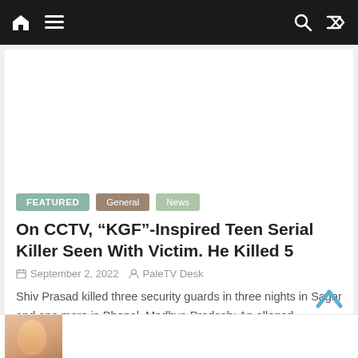Navigation bar with home, menu, search, and shuffle icons
[Figure (other): Advertisement placeholder area (blank white space)]
FEATURED   General   News
On CCTV, “KGF”-Inspired Teen Serial Killer Seen With Victim. He Killed 5
September 2, 2022   PaleTV Desk
Shiv Prasad killed three security guards in three nights in Sagar and one more in Bhopal. Madhya Pradesh: An alleged
[Figure (photo): Partial thumbnail image of a person's face visible at the bottom of the page]